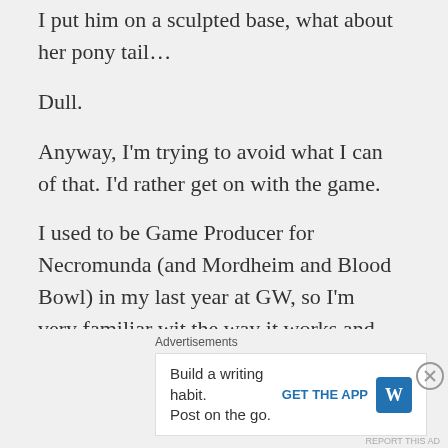I put him on a sculpted base, what about her pony tail…
Dull.
Anyway, I'm trying to avoid what I can of that. I'd rather get on with the game.
I used to be Game Producer for Necromunda (and Mordheim and Blood Bowl) in my last year at GW, so I'm very familiar wit the way it works and which bits don't.
Advertisements
Build a writing habit. Post on the go. GET THE APP